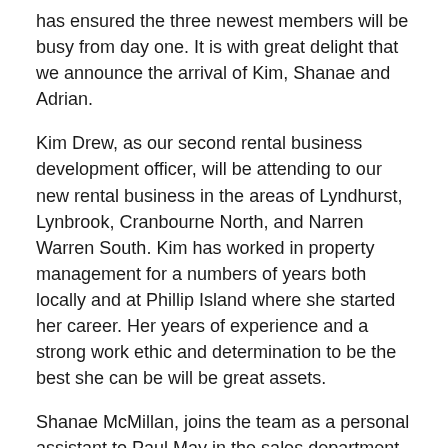has ensured the three newest members will be busy from day one. It is with great delight that we announce the arrival of Kim, Shanae and Adrian.
Kim Drew, as our second rental business development officer, will be attending to our new rental business in the areas of Lyndhurst, Lynbrook, Cranbourne North, and Narren Warren South. Kim has worked in property management for a numbers of years both locally and at Phillip Island where she started her career. Her years of experience and a strong work ethic and determination to be the best she can be will be great assets.
Shanae McMillan, joins the team as a personal assistant to Paul May in the sales department. Shanae has long harboured a desire to join the real estate business. Her age and lack of experience were considered by many to be against her but her maturity and fantastic work ethic and great attitude to learning were key factors identified by Paul and traits that have shone through early in her